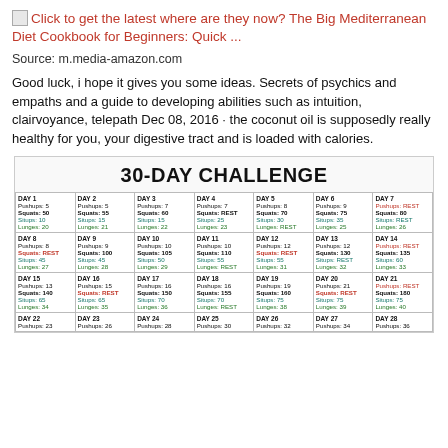Click to get the latest where are they now? The Big Mediterranean Diet Cookbook for Beginners: Quick ...
Source: m.media-amazon.com
Good luck, i hope it gives you some ideas. Secrets of psychics and empaths and a guide to developing abilities such as intuition, clairvoyance, telepath Dec 08, 2016 · the coconut oil is supposedly really healthy for you, your digestive tract and is loaded with calories.
[Figure (table-as-image): 30-Day Challenge fitness calendar showing daily pushups, squats, situps, and lunges for days 1-28+]